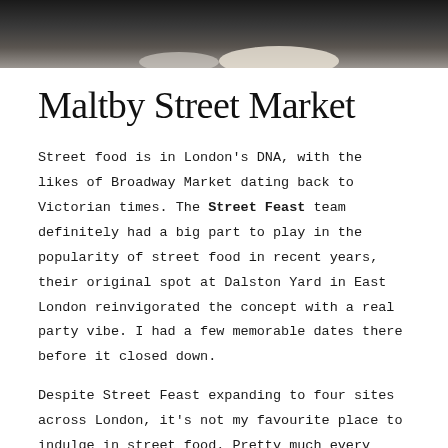[Figure (photo): Top portion of a dark photo showing what appears to be a bowl or cup, partially visible at the top of the page]
Maltby Street Market
Street food is in London's DNA, with the likes of Broadway Market dating back to Victorian times. The Street Feast team definitely had a big part to play in the popularity of street food in recent years, their original spot at Dalston Yard in East London reinvigorated the concept with a real party vibe. I had a few memorable dates there before it closed down.
Despite Street Feast expanding to four sites across London, it's not my favourite place to indulge in street food. Pretty much every foodie I know in London is enamoured with Maltby Street Market, which is a